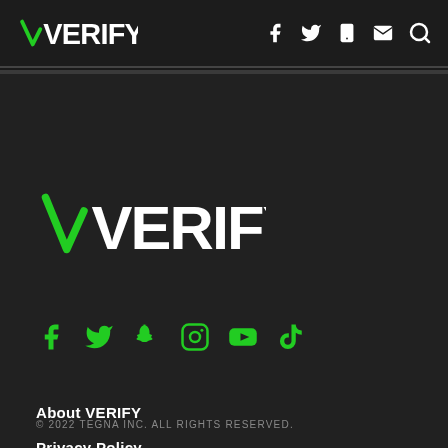VERIFY (logo with navigation icons: Facebook, Twitter, Mobile, Email, Search)
[Figure (logo): VERIFY logo large white text with green checkmark V, on dark background]
[Figure (infographic): Social media icons row: Facebook, Twitter, Snapchat, Instagram, YouTube, TikTok — all in green]
About VERIFY
Privacy Policy
Terms of Service
© 2022 TEGNA INC. ALL RIGHTS RESERVED.